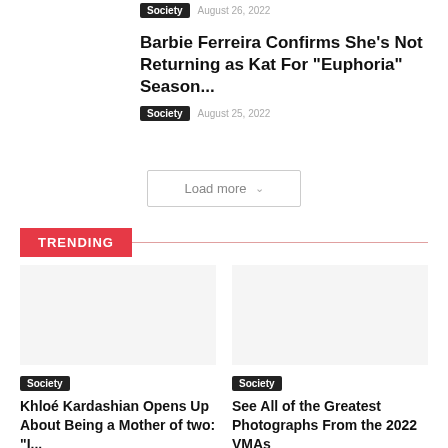Society   August 26, 2022
Barbie Ferreira Confirms She's Not Returning as Kat For "Euphoria" Season...
Society   August 25, 2022
Load more
TRENDING
[Figure (photo): Placeholder image for Khloé Kardashian article]
Society
Khloé Kardashian Opens Up About Being a Mother of two: "I...
[Figure (photo): Placeholder image for 2022 VMAs article]
Society
See All of the Greatest Photographs From the 2022 VMAs